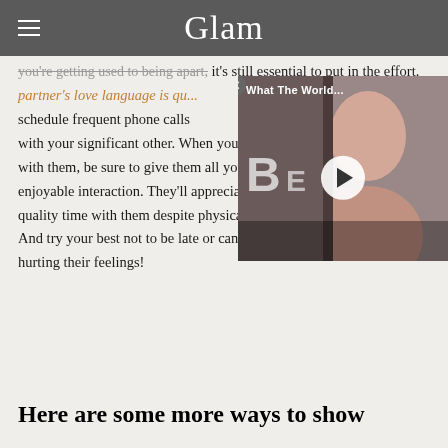Glam
you're getting used to being apart, it's still essential to put in the effort. partner's love language is qu... schedule frequent phone calls with your significant other. When you're virtually spending that time with them, be sure to give them all your attention and make it an enjoyable interaction. They'll appreciate that you're trying to spend quality time with them despite physically being so many miles away. And try your best not to be late or cancel at the last minute to avoid hurting their feelings!
[Figure (screenshot): Video overlay showing a woman at an event with a play button, labeled 'What The World...']
Here are some more ways to show